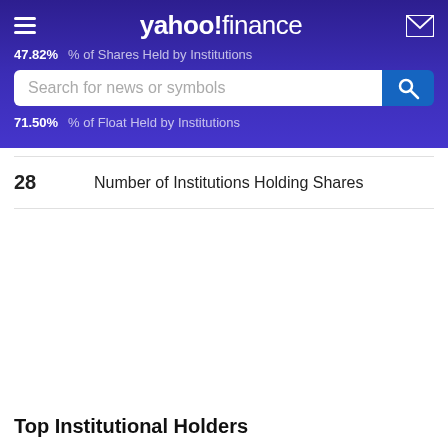yahoo! finance
47.82% % of Shares Held by Institutions
Search for news or symbols
71.50% % of Float Held by Institutions
| Value | Label |
| --- | --- |
| 28 | Number of Institutions Holding Shares |
Top Institutional Holders